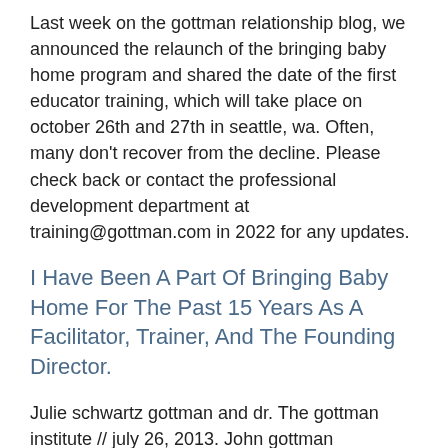Last week on the gottman relationship blog, we announced the relaunch of the bringing baby home program and shared the date of the first educator training, which will take place on october 26th and 27th in seattle, wa. Often, many don't recover from the decline. Please check back or contact the professional development department at training@gottman.com in 2022 for any updates.
I Have Been A Part Of Bringing Baby Home For The Past 15 Years As A Facilitator, Trainer, And The Founding Director.
Julie schwartz gottman and dr. The gottman institute // july 26, 2013. John gottman developed and later tested the program with